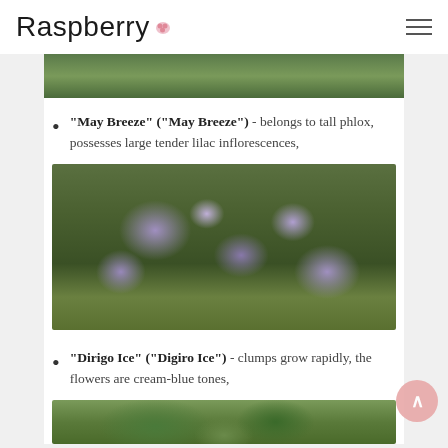Raspberry
[Figure (photo): Top portion of a garden plant image, cut off at top of visible area]
"May Breeze" ("May Breeze") - belongs to tall phlox, possesses large tender lilac inflorescences,
[Figure (photo): Purple and blue phlox flowers blooming in a garden with rocks and green foliage]
"Dirigo Ice" ("Digiro Ice") - clumps grow rapidly, the flowers are cream-blue tones,
[Figure (photo): Green leafy plant, partially visible at bottom of page]